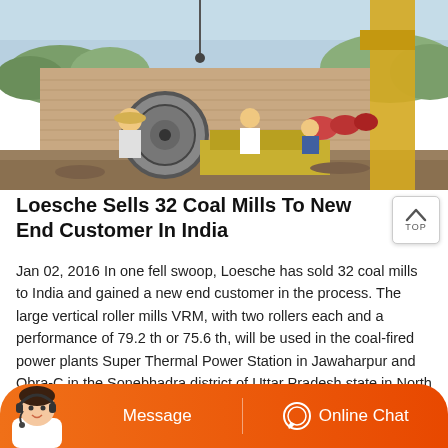[Figure (photo): Construction site photo showing workers, a large circular machine/mill component being installed with a crane, yellow construction crane arm visible on right, brick wall in background, outdoor setting in India]
Loesche Sells 32 Coal Mills To New End Customer In India
Jan 02, 2016 In one fell swoop, Loesche has sold 32 coal mills to India and gained a new end customer in the process. The large vertical roller mills VRM, with two rollers each and a performance of 79.2 th or 75.6 th, will be used in the coal-fired power plants Super Thermal Power Station in Jawaharpur and Obra-C in the Sonebhadra district of Uttar Pradesh state in North India.